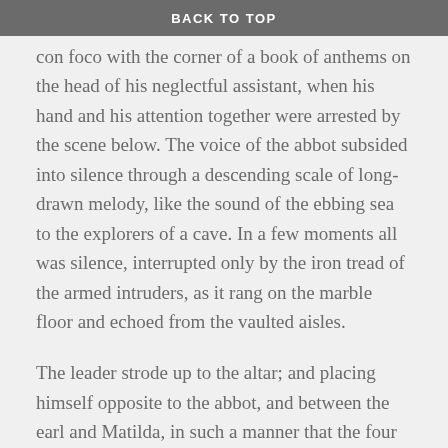BACK TO TOP
con foco with the corner of a book of anthems on the head of his neglectful assistant, when his hand and his attention together were arrested by the scene below. The voice of the abbot subsided into silence through a descending scale of long-drawn melody, like the sound of the ebbing sea to the explorers of a cave. In a few moments all was silence, interrupted only by the iron tread of the armed intruders, as it rang on the marble floor and echoed from the vaulted aisles.
The leader strode up to the altar; and placing himself opposite to the abbot, and between the earl and Matilda, in such a manner that the four together seemed to stand on the four points of a diamond, exclaimed, “In the name of King Henry, I forbid the ceremony, and attach Robert Earl of Huntingdon as a traitor!” and at the same time he held his drawn sword between the lovers, as if to emblem that royal authority which laid its temporal ban upon their contract.